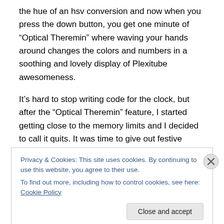the hue of an hsv conversion and now when you press the down button, you get one minute of “Optical Theremin” where waving your hands around changes the colors and numbers in a soothing and lovely display of Plexitube awesomeness.
It’s hard to stop writing code for the clock, but after the “Optical Theremin” feature, I started getting close to the memory limits and I decided to call it quits. It was time to give out festive springtime firmware upgrades! I had been trying super hard to have the code all done before the
Privacy & Cookies: This site uses cookies. By continuing to use this website, you agree to their use.
To find out more, including how to control cookies, see here: Cookie Policy